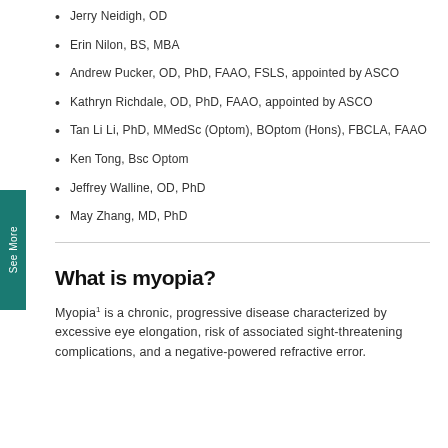Jerry Neidigh, OD
Erin Nilon, BS, MBA
Andrew Pucker, OD, PhD, FAAO, FSLS, appointed by ASCO
Kathryn Richdale, OD, PhD, FAAO, appointed by ASCO
Tan Li Li, PhD, MMedSc (Optom), BOptom (Hons), FBCLA, FAAO
Ken Tong, Bsc Optom
Jeffrey Walline, OD, PhD
May Zhang, MD, PhD
What is myopia?
Myopia¹ is a chronic, progressive disease characterized by excessive eye elongation, risk of associated sight-threatening complications, and a negative-powered refractive error.